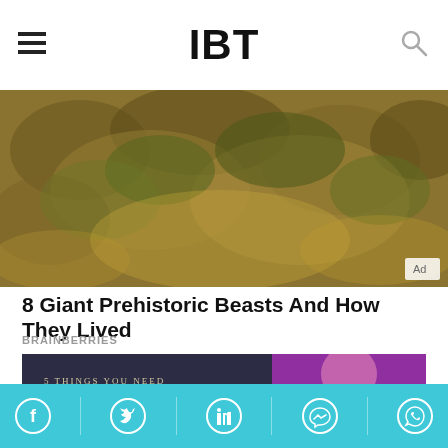IBT
[Figure (photo): Close-up photo of spices/herbs — golden brown and green powdered or textured food items with an 'Ad' badge in the bottom right corner]
8 Giant Prehistoric Beasts And How They Lived
BRAINBERRIES
[Figure (infographic): Infographic about Priyamani: '5 THINGS YOU NEED TO KNOW ABOUT PRIYAMANI' with a dark background and photo of a woman in a pink/magenta dress. Bottom gold section shows 'ACTORS SHE RESPECTS: Kamal Hassan and Sridevi' and 'IF NOT ACTING: She would be an air hostess or go into hotel management']
Social sharing bar with Facebook, Twitter, LinkedIn, Messenger, WhatsApp icons